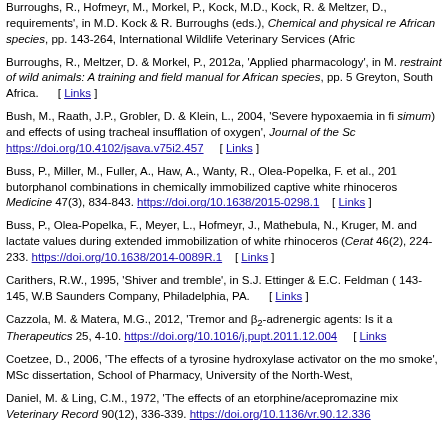Burroughs, R., Hofmeyr, M., Morkel, P., Kock, M.D., Kock, R. & Meltzer, D., … requirements', in M.D. Kock & R. Burroughs (eds.), Chemical and physical re… African species, pp. 143-264, International Wildlife Veterinary Services (Afric…
Burroughs, R., Meltzer, D. & Morkel, P., 2012a, 'Applied pharmacology', in M.… restraint of wild animals: A training and field manual for African species, pp. 5… Greyton, South Africa. [ Links ]
Bush, M., Raath, J.P., Grobler, D. & Klein, L., 2004, 'Severe hypoxaemia in fi… simum) and effects of using tracheal insufflation of oxygen', Journal of the Sc… https://doi.org/10.4102/jsava.v75i2.457 [ Links ]
Buss, P., Miller, M., Fuller, A., Haw, A., Wanty, R., Olea-Popelka, F. et al., 201… butorphanol combinations in chemically immobilized captive white rhinoceros… Medicine 47(3), 834-843. https://doi.org/10.1638/2015-0298.1 [ Links ]
Buss, P., Olea-Popelka, F., Meyer, L., Hofmeyr, J., Mathebula, N., Kruger, M.… and lactate values during extended immobilization of white rhinoceros (Cerat… 46(2), 224-233. https://doi.org/10.1638/2014-0089R.1 [ Links ]
Carithers, R.W., 1995, 'Shiver and tremble', in S.J. Ettinger & E.C. Feldman (… 143-145, W.B Saunders Company, Philadelphia, PA. [ Links ]
Cazzola, M. & Matera, M.G., 2012, 'Tremor and β2-adrenergic agents: Is it a… Therapeutics 25, 4-10. https://doi.org/10.1016/j.pupt.2011.12.004 [ Links ]
Coetzee, D., 2006, 'The effects of a tyrosine hydroxylase activator on the mo… smoke', MSc dissertation, School of Pharmacy, University of the North-West, …
Daniel, M. & Ling, C.M., 1972, 'The effects of an etorphine/acepromazine mix… Veterinary Record 90(12), 336-339. https://doi.org/10.1136/vr.90.12.336